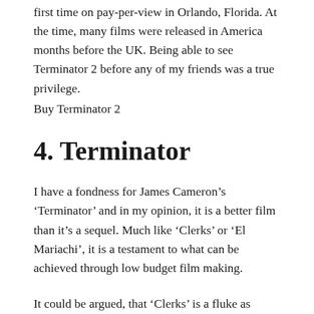first time on pay-per-view in Orlando, Florida. At the time, many films were released in America months before the UK. Being able to see Terminator 2 before any of my friends was a true privilege.
Buy Terminator 2
4. Terminator
I have a fondness for James Cameron’s ‘Terminator’ and in my opinion, it is a better film than it’s a sequel. Much like ‘Clerks’ or ‘El Mariachi’, it is a testament to what can be achieved through low budget film making.
It could be argued, that ‘Clerks’ is a fluke as opposed to the by-product of genius however, Terminator is an expertly woven piece of cinema,